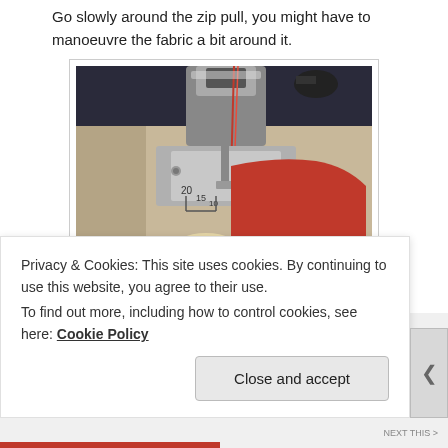Go slowly around the zip pull, you might have to manoeuvre the fabric a bit around it.
[Figure (photo): Close-up photo of a sewing machine needle area with red fabric/zip being sewn, showing the presser foot, needle, and measurement markings on the throat plate.]
Privacy & Cookies: This site uses cookies. By continuing to use this website, you agree to their use.
To find out more, including how to control cookies, see here: Cookie Policy